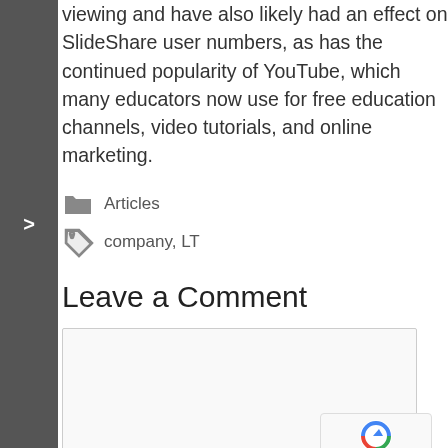viewing and have also likely had an effect on SlideShare user numbers, as has the continued popularity of YouTube, which many educators now use for free education channels, video tutorials, and online marketing.
Articles
company, LT
Leave a Comment
[Figure (other): Comment text input box and reCAPTCHA badge]